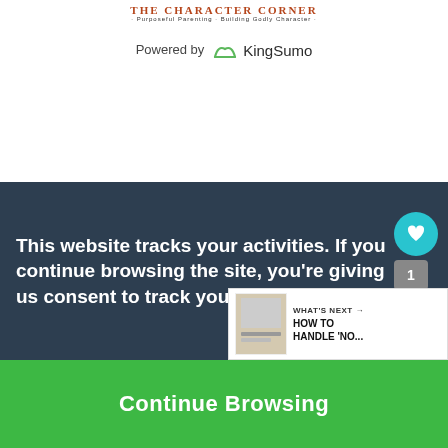THE CHARACTER CORNER
·Purposeful Parenting · Building Godly Character·
Powered by KingSumo
30 Days of the Best
This website tracks your activities. If you continue browsing the site, you're giving us consent to track your activity.
Continue Browsing
WHAT'S NEXT → HOW TO HANDLE 'NO...